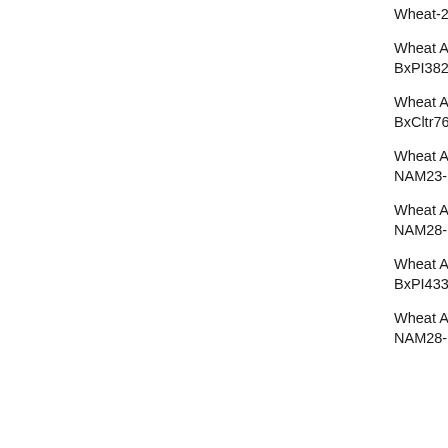Wheat ABD - Wheat-2018-NAM2-BxPI572692_6A
Wheat ABD - Wheat-NAM5-Berkut-x-PI382150 - Wheat-2018-NAM5-BxPI382150_6A
Wheat ABD - Wheat-NAM15-Berkut-x-Cltr7635 - Wheat-2018-NAM15-BxCltr7635_6A
Wheat ABD - Wheat-NAM23-Berkut-x-PI192001 - Wheat-2018-NAM23-BxPI192001_6A
Wheat ABD - Wheat-NAM28-Berkut-x-PI210945 - Wheat-2018-NAM28-BxPI210945_6A
Wheat ABD - Wheat-NAM19-Berkut-x-PI43355 - Wheat-2018-NAM19-BxPI43355_6A
Wheat ABD - Wheat-NAM28-Berkut-x-PI210945 - Wheat-2018-NAM28-BxPI210945_6A